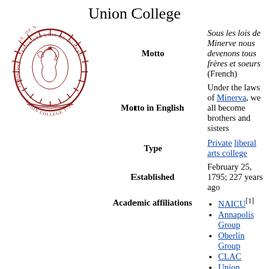Union College
[Figure (logo): Union College circular seal/emblem in dark red/maroon, featuring Minerva in profile wearing a helmet, surrounded by text 'SOUS LES LOIS DE MINERVE' and 'UNION COLLEGE 1795' and 'ST. OF N. YORK', with a sunburst border]
| Motto | Sous les lois de Minerve nous devenons tous frères et soeurs (French) |
| Motto in English | Under the laws of Minerva, we all become brothers and sisters |
| Type | Private liberal arts college |
| Established | February 25, 1795; 227 years ago |
| Academic affiliations | NAICU[1] • Annapolis Group • Oberlin Group • CLAC • Union University • Space grant |